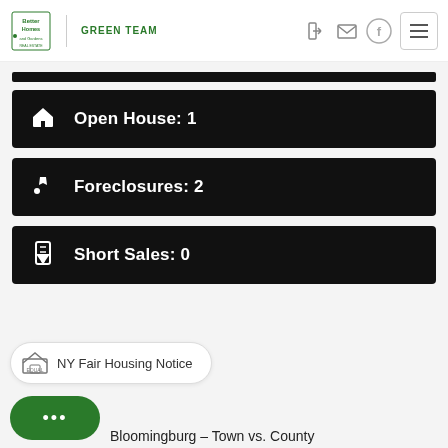Better Homes and Gardens Green Team | NY Fair Housing Notice | Navigation
Open House: 1
Foreclosures: 2
Short Sales: 0
NY Fair Housing Notice
Bloomingburg - Town vs. County